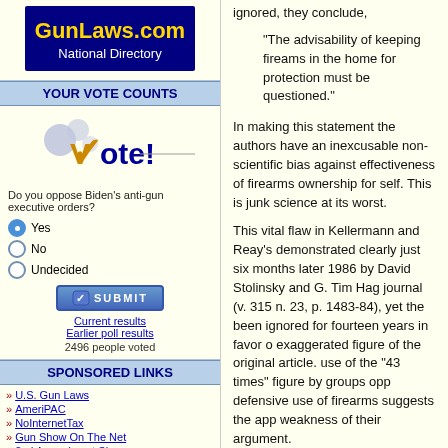[Figure (logo): GunLaws.com National Directory logo with gold text on dark blue background]
YOUR VOTE COUNTS
[Figure (illustration): Vote! graphic with checkmark and bubbles]
Do you oppose Biden's anti-gun executive orders?
Yes (selected)
No
Undecided
Current results
Earlier poll results
2496 people voted
SPONSORED LINKS
U.S. Gun Laws
AmeriPAC
NoInternetTax
Gun Show On The Net
2nd Amendment Show
SEMPER FIrearms
Colt Collectors Assoc.
Personal Defense Solutions
ignored, they conclude,
"The advisability of keeping firearms in the home for protection must be questioned."
In making this statement the authors have an inexcusable non-scientific bias against effectiveness of firearms ownership for se... This is junk science at its worst.
This vital flaw in Kellermann and Reay's ... demonstrated clearly just six months later 1986 by David Stolinsky and G. Tim Hag... journal (v. 315 n. 23, p. 1483-84), yet the been ignored for fourteen years in favor o... exaggerated figure of the original article. use of the "43 times" figure by groups opp... defensive use of firearms suggests the app... weakness of their argument.
But there's more. Included in the "43 time... Kellermann are 37 suicides, some 86 perc... alleged total, which have nothing to do wi... or defensive uses of firearms. Even Keller... Reay say clearly